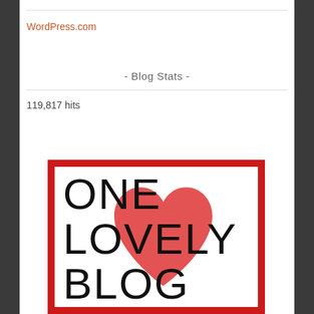WordPress.com
- Blog Stats -
119,817 hits
[Figure (illustration): One Lovely Blog award image: red border frame with white interior, large red heart shape in background, text 'ONE LOVELY BLOG' in thin sans-serif capital letters over the heart]